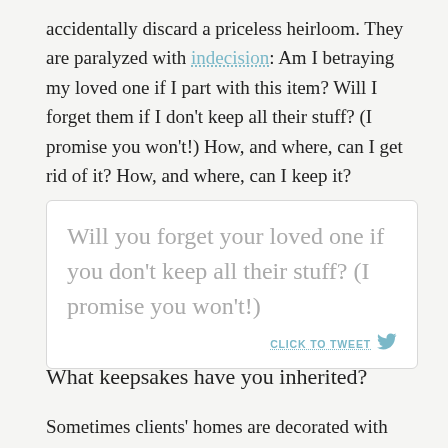accidentally discard a priceless heirloom. They are paralyzed with indecision: Am I betraying my loved one if I part with this item? Will I forget them if I don't keep all their stuff? (I promise you won't!) How, and where, can I get rid of it? How, and where, can I keep it?
[Figure (other): Tweet box with quote: Will you forget your loved one if you don't keep all their stuff? (I promise you won't!) and a CLICK TO TWEET link with Twitter bird icon.]
What keepsakes have you inherited?
Sometimes clients' homes are decorated with grandma's